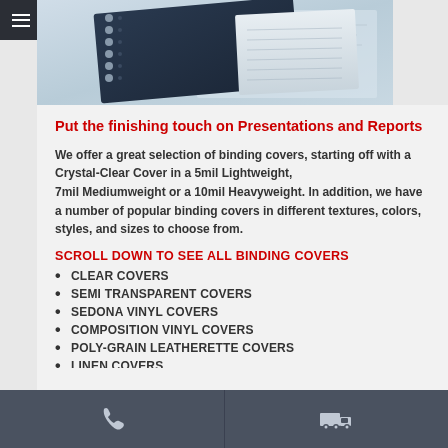MENU
[Figure (photo): Photo of a spiral-bound notebook with papers and documents, shot from above at an angle]
Put the finishing touch on Presentations and Reports
We offer a great selection of binding covers, starting off with a Crystal-Clear Cover in a 5mil Lightweight, 7mil Mediumweight or a 10mil Heavyweight. In addition, we have a number of popular binding covers in different textures, colors, styles, and sizes to choose from.
SCROLL DOWN TO SEE ALL BINDING COVERS
CLEAR COVERS
SEMI TRANSPARENT COVERS
SEDONA VINYL COVERS
COMPOSITION VINYL COVERS
POLY-GRAIN LEATHERETTE COVERS
LINEN COVERS
Phone icon | Truck/delivery icon